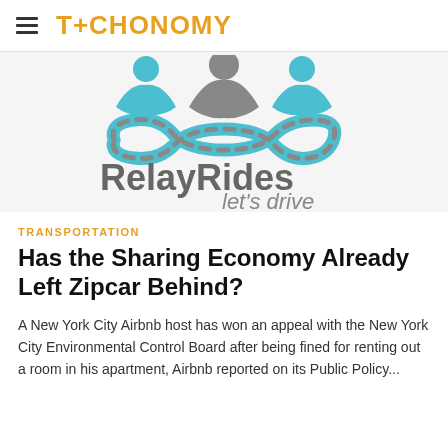TECHONOMY
[Figure (logo): RelayRides logo with three person icons above a road/infinity symbol, text 'RelayRides let's drive' in gray]
TRANSPORTATION
Has the Sharing Economy Already Left Zipcar Behind?
A New York City Airbnb host has won an appeal with the New York City Environmental Control Board after being fined for renting out a room in his apartment, Airbnb reported on its Public Policy...